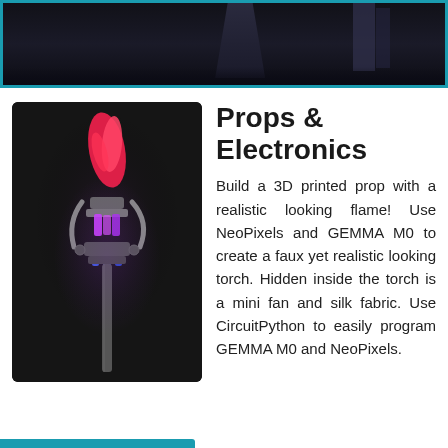[Figure (photo): Dark banner/header image showing a partially visible figure or background scene with dark tones, framed by a teal/cyan border.]
[Figure (photo): Photo of a 3D printed torch prop with NeoPixels glowing in pink, red, and purple colors against a dark background, mounted on a pole.]
Props & Electronics
Build a 3D printed prop with a realistic looking flame! Use NeoPixels and GEMMA M0 to create a faux yet realistic looking torch. Hidden inside the torch is a mini fan and silk fabric. Use CircuitPython to easily program GEMMA M0 and NeoPixels.